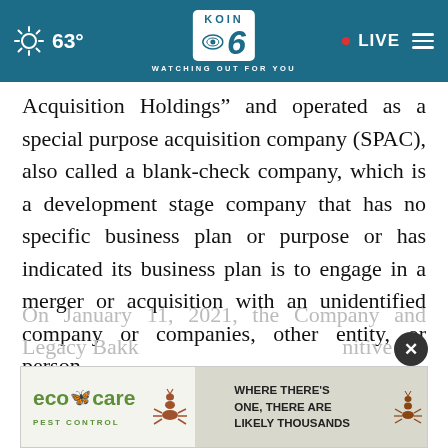[Figure (screenshot): KOIN 6 CBS news website navigation bar with weather showing 63°, KOIN 6 logo, LIVE indicator, and hamburger menu]
Acquisition Holdings” and operated as a special purpose acquisition company (SPAC), also called a blank-check company, which is a development stage company that has no specific business plan or purpose or has indicated its business plan is to engage in a merger or acquisition with an unidentified company or companies, other entity, or person.
On January 11, 2021, the Company and Legacy Bakk... nitive
[Figure (screenshot): Eco Care Pest Control advertisement banner with tagline WHERE THERE'S ONE, THERE ARE LIKELY THOUSANDS]